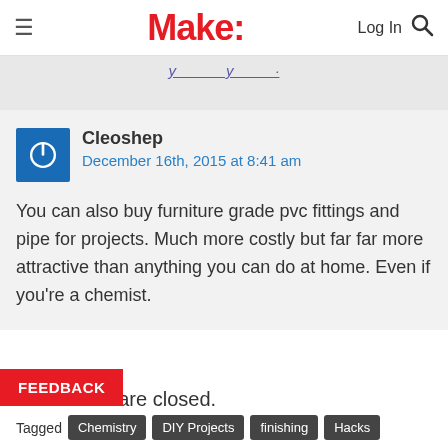Make: Log In
Comments are closed.
You can also buy furniture grade pvc fittings and pipe for projects. Much more costly but far far more attractive than anything you can do at home. Even if you're a chemist.
Cleoshep
December 16th, 2015 at 8:41 am
Tagged Chemistry DIY Projects finishing Hacks